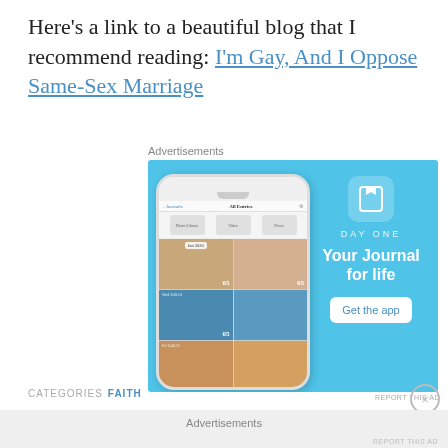Here's a link to a beautiful blog that I recommend reading: I'm Gay, And I Oppose Same-Sex Marriage
[Figure (photo): Advertisement for DayOne journal app showing phone mockup with photo grid and 'Your Journal for life' tagline with Get the app button]
REPORT THIS AD
CATEGORIES FAITH
Advertisements
REPORT THIS AD